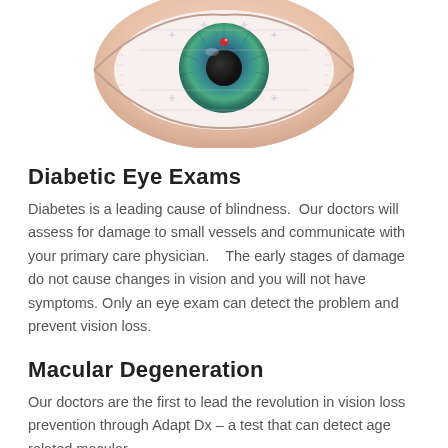[Figure (photo): Close-up photograph of a human eye with blue iris, shown against a light background with grid/measurement overlay markings and a red laser dot at the top center.]
Diabetic Eye Exams
Diabetes is a leading cause of blindness.  Our doctors will assess for damage to small vessels and communicate with your primary care physician.   The early stages of damage do not cause changes in vision and you will not have symptoms. Only an eye exam can detect the problem and prevent vision loss.
Macular Degeneration
Our doctors are the first to lead the revolution in vision loss prevention through Adapt Dx – a test that can detect age related macular